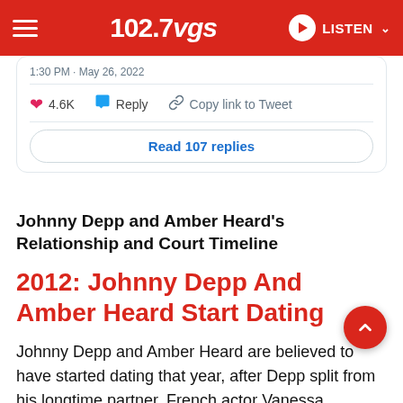102.7 VGS — LISTEN
1:30 PM · May 26, 2022
4.6K  Reply  Copy link to Tweet
Read 107 replies
Johnny Depp and Amber Heard's Relationship and Court Timeline
2012: Johnny Depp And Amber Heard Start Dating
Johnny Depp and Amber Heard are believed to have started dating that year, after Depp split from his longtime partner, French actor Vanessa Paradis. Depp and Paradis have two children